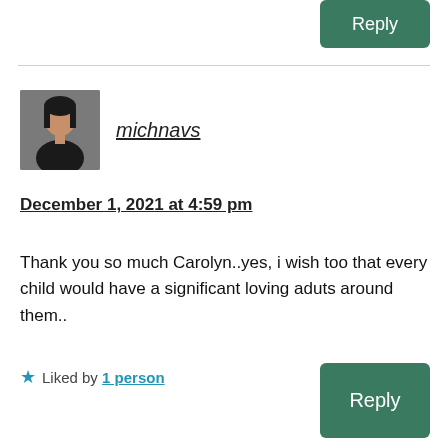Reply
[Figure (photo): Avatar photo of michnavs, a woman with dark hair wearing black top]
michnavs
December 1, 2021 at 4:59 pm
Thank you so much Carolyn..yes, i wish too that every child would have a significant loving aduts around them..
Liked by 1 person
Reply